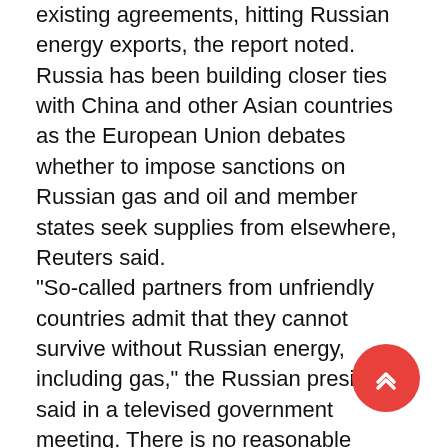existing agreements, hitting Russian energy exports, the report noted. Russia has been building closer ties with China and other Asian countries as the European Union debates whether to impose sanctions on Russian gas and oil and member states seek supplies from elsewhere, Reuters said. "So-called partners from unfriendly countries admit that they cannot survive without Russian energy, including gas," the Russian president said in a televised government meeting. There is no reasonable alternative to Russian gas in Europe right now." He also said Europe was driving up energy prices and destabilizing markets by talking about cutting off Russia's energy supplies. Russia, which produces about a tenth of the world's oil and a fifth of its natural gas, will need new infrastructure to increase energy supplies to Asia, he said. He ordered Moscow to submit a plan by June 1, including